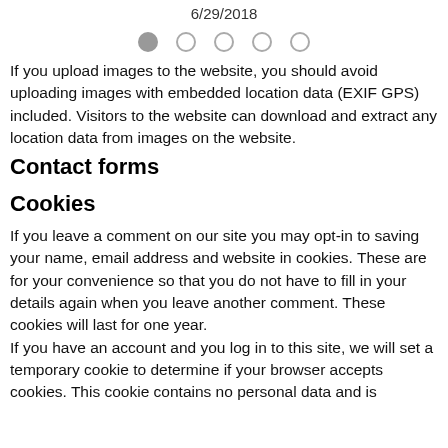6/29/2018
[Figure (other): Navigation pagination dots: one filled circle followed by four empty circles]
If you upload images to the website, you should avoid uploading images with embedded location data (EXIF GPS) included. Visitors to the website can download and extract any location data from images on the website.
Contact forms
Cookies
If you leave a comment on our site you may opt-in to saving your name, email address and website in cookies. These are for your convenience so that you do not have to fill in your details again when you leave another comment. These cookies will last for one year.
If you have an account and you log in to this site, we will set a temporary cookie to determine if your browser accepts cookies. This cookie contains no personal data and is